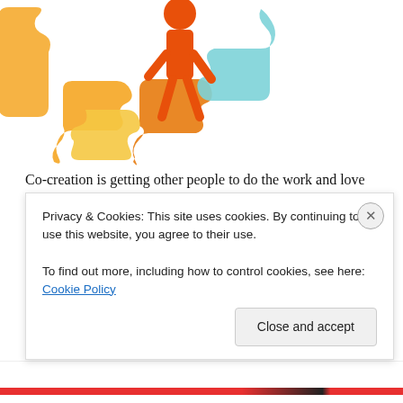[Figure (illustration): Colorful puzzle pieces illustration with a person/silhouette figure standing among orange, yellow, and blue puzzle pieces]
Co-creation is getting other people to do the work and love you for it. While most people think of co-creation as a way to innovate and change the competitive rules, it is also a way of cutting cost. Why is Apple so profitable? Among other reasons because it gets its customers to market to each other. If my friends sell me on the latest Black Eyed Peas release by sharing their play list with me on iTunes, Apple doesn't have to spend marketing dollars to promote it to me. And by the way, my
Privacy & Cookies: This site uses cookies. By continuing to use this website, you agree to their use.
To find out more, including how to control cookies, see here: Cookie Policy